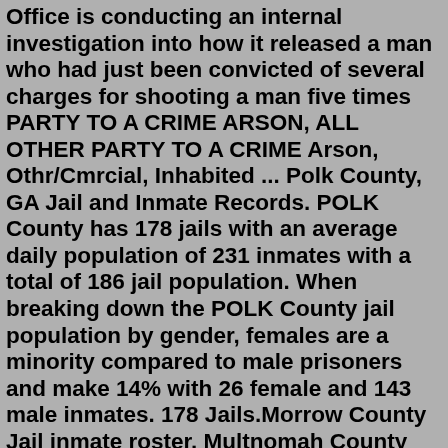Office is conducting an internal investigation into how it released a man who had just been convicted of several charges for shooting a man five times PARTY TO A CRIME ARSON, ALL OTHER PARTY TO A CRIME Arson, Othr/Cmrcial, Inhabited ... Polk County, GA Jail and Inmate Records. POLK County has 178 jails with an average daily population of 231 inmates with a total of 186 jail population. When breaking down the POLK County jail population by gender, females are a minority compared to male prisoners and make 14% with 26 female and 143 male inmates. 178 Jails.Morrow County Jail inmate roster. Multnomah County Jail inmate search. Oregon Department of Corrections inmate search. Polk County Jail inmates. Springfield City Jail inmate search. Tillamook County Jail inmate list. Umatilla County Jail inmate roster. Union County Jail inmate list. Wallowa County Sheriff inmate list. Linn County, OR Jail Inmates. Oregon's 2021 Legislature passed House Bill 3273, which prohibits the release of a booking photo by a law enforcement agency to the